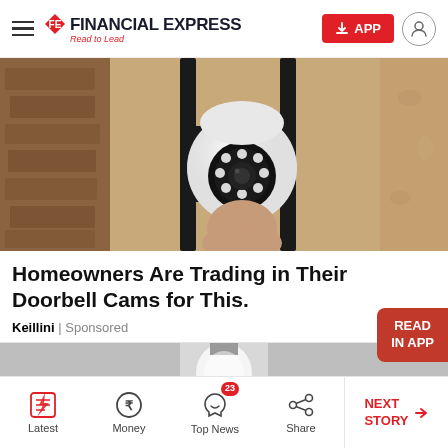Financial Express — Read to Lead
[Figure (photo): Security camera mounted on wall bracket with LED lights, held by a hand, against a textured wall background]
Homeowners Are Trading in Their Doorbell Cams for This.
Keillini | Sponsored
[Figure (photo): Light bulb shaped security camera on grey background]
Latest | Money | Top News (23) | Share | NEXT STORY →